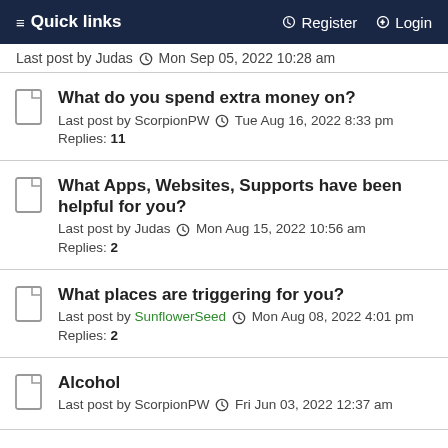≡ Quick links   Register   Login
Last post by Judas  Mon Sep 05, 2022 10:28 am
What do you spend extra money on?
Last post by ScorpionPW  Tue Aug 16, 2022 8:33 pm
Replies: 11
What Apps, Websites, Supports have been helpful for you?
Last post by Judas  Mon Aug 15, 2022 10:56 am
Replies: 2
What places are triggering for you?
Last post by SunflowerSeed  Mon Aug 08, 2022 4:01 pm
Replies: 2
Alcohol
Last post by ScorpionPW  Fri Jun 03, 2022 12:37 am